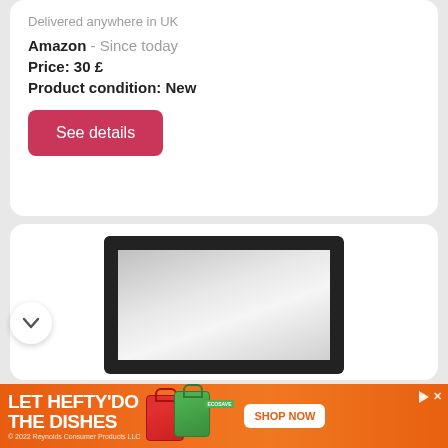Delivered anywhere in UK
Amazon - Since today
Price: 30 £
Product condition: New
See details
[Figure (photo): Close-up photo of a car side mirror with black frame, showing reflective mirror glass]
2016 CITROEN BERLINGO 5 Door Van Passenger Doo
[Figure (photo): Advertisement banner for Hefty dishes product: LET HEFTY'DO THE DISHES with red and green product bags and SHOP NOW button. © 2022 Reynolds Consumer Products LLC]